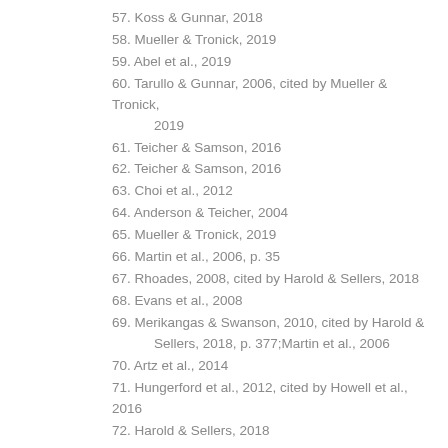57. Koss & Gunnar, 2018
58. Mueller & Tronick, 2019
59. Abel et al., 2019
60. Tarullo & Gunnar, 2006, cited by Mueller & Tronick, 2019
61. Teicher & Samson, 2016
62. Teicher & Samson, 2016
63. Choi et al., 2012
64. Anderson & Teicher, 2004
65. Mueller & Tronick, 2019
66. Martin et al., 2006, p. 35
67. Rhoades, 2008, cited by Harold & Sellers, 2018
68. Evans et al., 2008
69. Merikangas & Swanson, 2010, cited by Harold & Sellers, 2018, p. 377;Martin et al., 2006
70. Artz et al., 2014
71. Hungerford et al., 2012, cited by Howell et al., 2016
72. Harold & Sellers, 2018